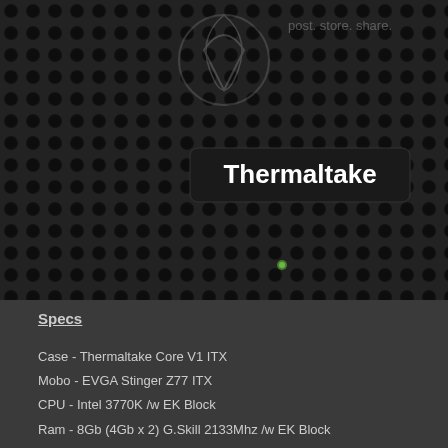[Figure (photo): Close-up photograph of a Thermaltake computer case panel with perforated black metal mesh and a white Thermaltake logo badge. The background shows circular perforations across the dark metal surface.]
Specs
Case - Thermaltake Core V1 ITX
Mobo - EVGA Stinger Z77 ITX
CPU - Intel 3770K /w EK Block
Ram - 8Gb (4Gb x 2) G.Skill 2133Mhz /w EK Block
GPU - EVGA GTX 660Ti 2Gb /w EK Block